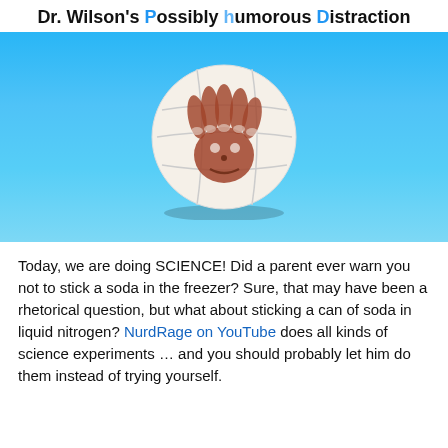Dr. Wilson's Possibly humorous Distraction
[Figure (photo): A white volleyball with a red/brown handprint face painted on it (Wilson from Cast Away), photographed against a bright blue gradient background.]
Today, we are doing SCIENCE! Did a parent ever warn you not to stick a soda in the freezer? Sure, that may have been a rhetorical question, but what about sticking a can of soda in liquid nitrogen? NurdRage on YouTube does all kinds of science experiments … and you should probably let him do them instead of trying yourself.